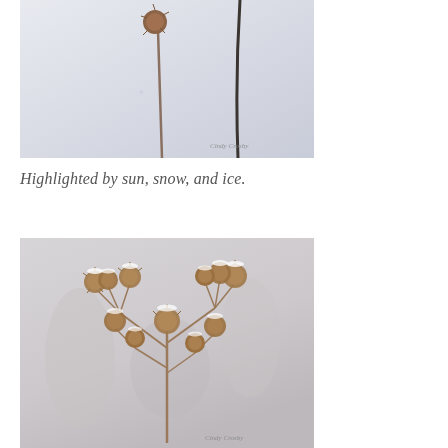[Figure (photo): Close-up photograph of a dried seed head on a thin stem against a pale grey-blue background, with a watermark reading 'Cindy Crosby' in the lower right corner.]
Highlighted by sun, snow, and ice.
[Figure (photo): Photograph of multiple dried spiky seed heads (likely Echinacea or similar) dusted with snow against a soft blurred winter background, with a watermark reading 'Cindy Crosby' in the lower right corner.]